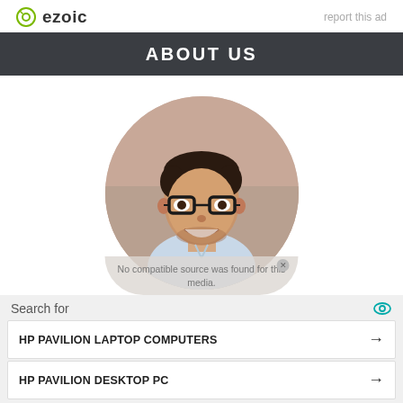ezoic  |  report this ad
ABOUT US
[Figure (photo): Circular cropped photo of a smiling young man with dark hair, glasses, and light blue shirt, with blurred urban background]
No compatible source was found for this media.
Search for
HP PAVILION LAPTOP COMPUTERS →
HP PAVILION DESKTOP PC →
Ad | Business Focus